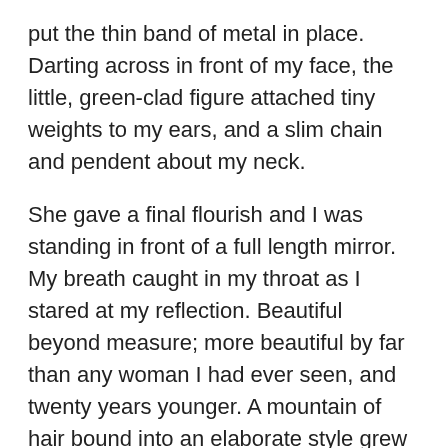put the thin band of metal in place. Darting across in front of my face, the little, green-clad figure attached tiny weights to my ears, and a slim chain and pendent about my neck.
She gave a final flourish and I was standing in front of a full length mirror. My breath caught in my throat as I stared at my reflection. Beautiful beyond measure; more beautiful by far than any woman I had ever seen, and twenty years younger. A mountain of hair bound into an elaborate style grew out of the top of my delicately featured head – accounting for the added weight – which in turn perched on a long and slender neck and an exquisitely gorgeous body. And it was all me.